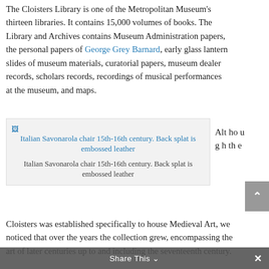The Cloisters Library is one of the Metropolitan Museum's thirteen libraries. It contains 15,000 volumes of books. The Library and Archives contains Museum Administration papers, the personal papers of George Grey Barnard, early glass lantern slides of museum materials, curatorial papers, museum dealer records, scholars records, recordings of musical performances at the museum, and maps.
[Figure (photo): Italian Savonarola chair 15th-16th century. Back splat is embossed leather. Image shown with link text and caption.]
Italian Savonarola chair 15th-16th century. Back splat is embossed leather
Although the Cloisters was established specifically to house Medieval Art, we noticed that over the years the collection grew, encompassing the art of later centuries up to and including the seventeenth century.
Share This ∨  ✕